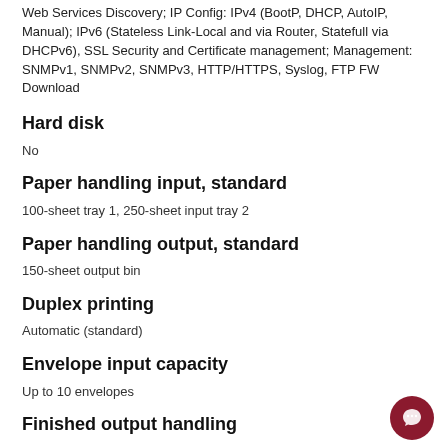Web Services Discovery; IP Config: IPv4 (BootP, DHCP, AutoIP, Manual); IPv6 (Stateless Link-Local and via Router, Statefull via DHCPv6), SSL Security and Certificate management; Management: SNMPv1, SNMPv2, SNMPv3, HTTP/HTTPS, Syslog, FTP FW Download
Hard disk
No
Paper handling input, standard
100-sheet tray 1, 250-sheet input tray 2
Paper handling output, standard
150-sheet output bin
Duplex printing
Automatic (standard)
Envelope input capacity
Up to 10 envelopes
Finished output handling